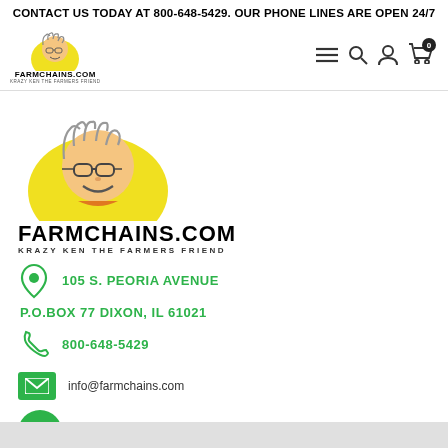CONTACT US TODAY AT 800-648-5429. OUR PHONE LINES ARE OPEN 24/7
[Figure (logo): FarmChains.com logo with cartoon farmer character on yellow background, small version in header]
[Figure (logo): FarmChains.com logo with cartoon farmer character on yellow background, large version in body]
105 S. PEORIA AVENUE
P.O.BOX 77 DIXON, IL 61021
800-648-5429
info@farmchains.com
[Figure (illustration): Facebook social media icon - green circle with white F]